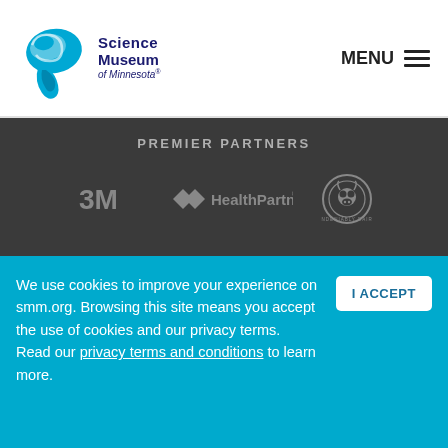[Figure (logo): Science Museum of Minnesota logo with blue swirl graphic and text]
MENU
PREMIER PARTNERS
[Figure (logo): 3M logo in gray]
[Figure (logo): HealthPartners logo in gray]
[Figure (logo): Undeniably Dairy circular logo in gray]
© 2022 Science Museum of Minnesota
120 W. Kellogg Blvd.
Saint Paul, MN 55102
(651) 221-9444
We use cookies to improve your experience on smm.org. Browsing this site means you accept the use of cookies and our privacy terms.
Read our privacy terms and conditions to learn more.